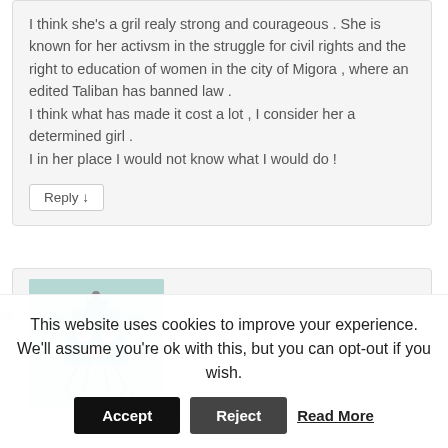I think she's a gril realy strong and courageous . She is known for her activsm in the struggle for civil rights and the right to education of women in the city of Migora , where an edited Taliban has banned law .
I think what has made it cost a lot , I consider her a determined girl .
I in her place I would not know what I would do !
Reply ↓
[Figure (illustration): Cartoon avatar of a green robot/alien character with a trapezoidal head, big eyes, and spider-like legs]
This website uses cookies to improve your experience. We'll assume you're ok with this, but you can opt-out if you wish.
Accept   Reject   Read More